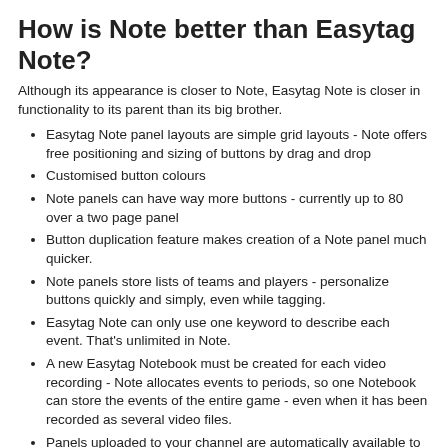How is Note better than Easytag Note?
Although its appearance is closer to Note, Easytag Note is closer in functionality to its parent than its big brother.
Easytag Note panel layouts are simple grid layouts - Note offers free positioning and sizing of buttons by drag and drop
Customised button colours
Note panels can have way more buttons - currently up to 80 over a two page panel
Button duplication feature makes creation of a Note panel much quicker.
Note panels store lists of teams and players - personalize buttons quickly and simply, even while tagging.
Easytag Note can only use one keyword to describe each event. That's unlimited in Note.
A new Easytag Notebook must be created for each video recording - Note allocates events to periods, so one Notebook can store the events of the entire game - even when it has been recorded as several video files.
Panels uploaded to your channel are automatically available to its members when they create new panels
Why stick with Easytag/EasyTag-Note?
Cost. Note requires a myDartfish plan. That has many benefits